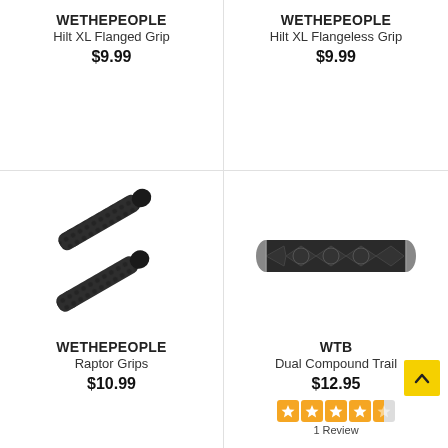WETHEPEOPLE
Hilt XL Flanged Grip
$9.99
[Figure (photo): WETHEPEOPLE Hilt XL Flanged Grip product image (not visible in bottom section)]
WETHEPEOPLE
Hilt XL Flangeless Grip
$9.99
[Figure (photo): WETHEPEOPLE Hilt XL Flangeless Grip product image (not visible in bottom section)]
[Figure (photo): WETHEPEOPLE Raptor Grips - two black textured bicycle grips crossed]
WETHEPEOPLE
Raptor Grips
$10.99
[Figure (photo): WTB Dual Compound Trail grip - single black patterned cylindrical grip]
WTB
Dual Compound Trail
$12.95
1 Review